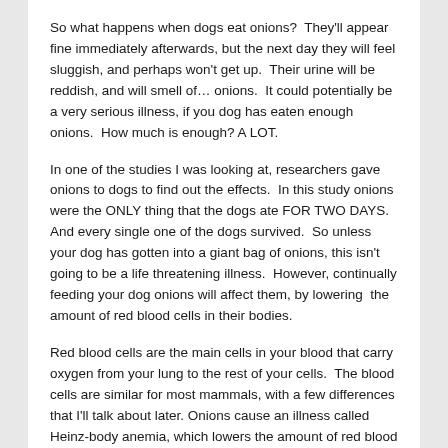So what happens when dogs eat onions?  They'll appear fine immediately afterwards, but the next day they will feel sluggish, and perhaps won't get up.  Their urine will be reddish, and will smell of… onions.  It could potentially be a very serious illness, if you dog has eaten enough onions.  How much is enough? A LOT.
In one of the studies I was looking at, researchers gave onions to dogs to find out the effects.  In this study onions were the ONLY thing that the dogs ate FOR TWO DAYS.  And every single one of the dogs survived.  So unless your dog has gotten into a giant bag of onions, this isn't going to be a life threatening illness.  However, continually feeding your dog onions will affect them, by lowering  the amount of red blood cells in their bodies.
Red blood cells are the main cells in your blood that carry oxygen from your lung to the rest of your cells.  The blood cells are similar for most mammals, with a few differences that I'll talk about later. Onions cause an illness called Heinz-body anemia, which lowers the amount of red blood